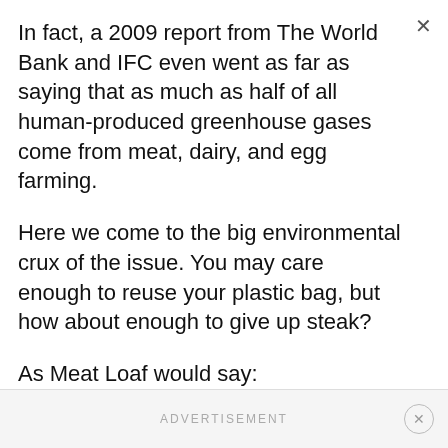In fact, a 2009 report from The World Bank and IFC even went as far as saying that as much as half of all human-produced greenhouse gases come from meat, dairy, and egg farming.
Here we come to the big environmental crux of the issue. You may care enough to reuse your plastic bag, but how about enough to give up steak?
As Meat Loaf would say:
“I would do anything to reduce my carbon footprint, but I won’t do that, no I won’t do that.”
ADVERTISEMENT